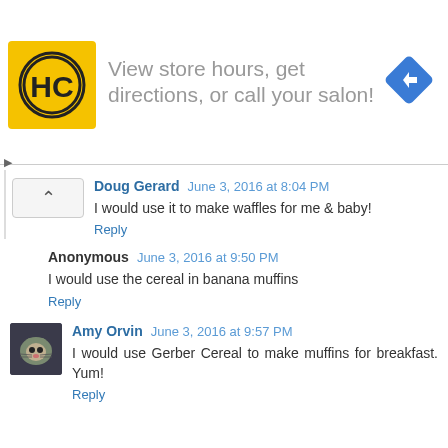[Figure (infographic): Advertisement banner: HC logo (yellow square with black HC letters in circle), text 'View store hours, get directions, or call your salon!', blue diamond arrow icon on right]
Doug Gerard  June 3, 2016 at 8:04 PM
I would use it to make waffles for me & baby!
Reply
Anonymous  June 3, 2016 at 9:50 PM
I would use the cereal in banana muffins
Reply
Amy Orvin  June 3, 2016 at 9:57 PM
I would use Gerber Cereal to make muffins for breakfast. Yum!
Reply